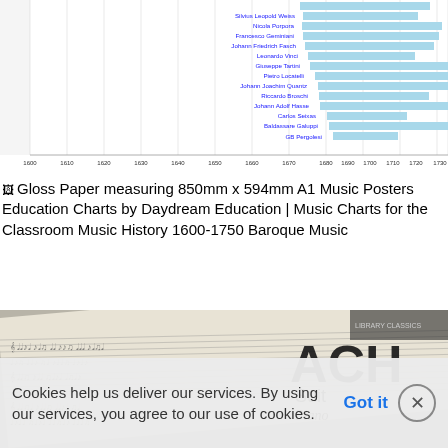[Figure (bar-chart): Music History 1600-1750 Baroque Music Composers Timeline]
Gloss Paper measuring 850mm x 594mm A1 Music Posters Education Charts by Daydream Education | Music Charts for the Classroom Music History 1600-1750 Baroque Music
[Figure (photo): Close-up photograph of Bach sheet music / piano score with handwritten musical notation visible, showing 'ACH' and 'Suite' and 'Piano' text on the right side]
Cookies help us deliver our services. By using our services, you agree to our use of cookies. Got it